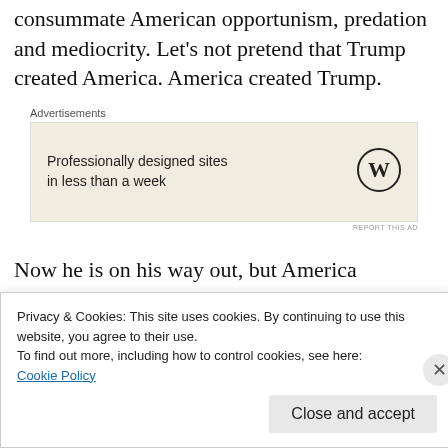consummate American opportunism, predation and mediocrity. Let's not pretend that Trump created America. America created Trump.
[Figure (other): Advertisement box with WordPress logo. Text: 'Professionally designed sites in less than a week']
Now he is on his way out, but America marches on. There will be a new president, the product of a “less bad” dynamic. Will he–will anybody–be able to clean up the monumental mess
Privacy & Cookies: This site uses cookies. By continuing to use this website, you agree to their use.
To find out more, including how to control cookies, see here:
Cookie Policy